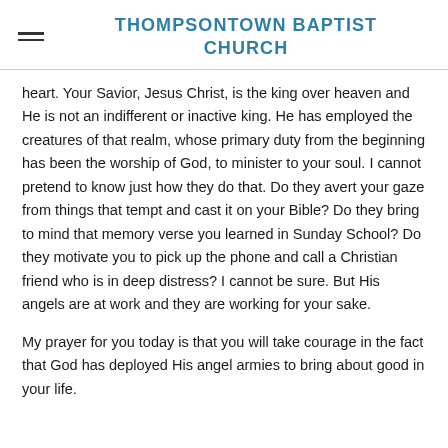THOMPSONTOWN BAPTIST CHURCH
heart. Your Savior, Jesus Christ, is the king over heaven and He is not an indifferent or inactive king. He has employed the creatures of that realm, whose primary duty from the beginning has been the worship of God, to minister to your soul. I cannot pretend to know just how they do that. Do they avert your gaze from things that tempt and cast it on your Bible? Do they bring to mind that memory verse you learned in Sunday School? Do they motivate you to pick up the phone and call a Christian friend who is in deep distress? I cannot be sure. But His angels are at work and they are working for your sake.
My prayer for you today is that you will take courage in the fact that God has deployed His angel armies to bring about good in your life.